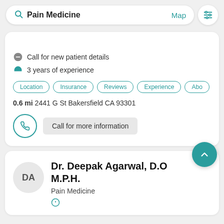[Figure (screenshot): Search bar with 'Pain Medicine' query, Map link, and filter icon]
Call for new patient details
3 years of experience
Location
Insurance
Reviews
Experience
Abo
0.6 mi 2441 G St Bakersfield CA 93301
Call for more information
Dr. Deepak Agarwal, D.O M.P.H.
Pain Medicine